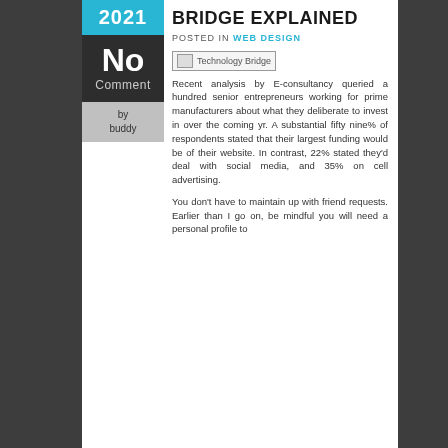BRIDGE EXPLAINED
POSTED IN WEB DESIGN
[Figure (photo): Technology Bridge image placeholder]
Recent analysis by E-consultancy queried a hundred senior entrepreneurs working for prime manufacturers about what they deliberate to invest in over the coming yr. A substantial fifty nine% of respondents stated that their largest funding would be of their website. In contrast, 22% stated they'd deal with social media, and 35% on cell advertising.
You don't have to maintain up with friend requests. Earlier than I go on, be mindful you will need a personal profile to
2021
No
Comment
by
buddy